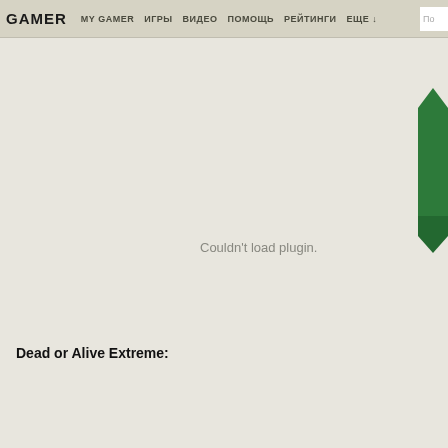GAMER  MY GAMER  ИГРЫ  ВИДЕО  ПОМОЩЬ  РЕЙТИНГИ  ЕЩЕ  По
[Figure (other): Green hexagonal chat tab widget on the right side of the page with Russian text 'Чат' written vertically]
Couldn't load plugin.
Dead or Alive Extreme: